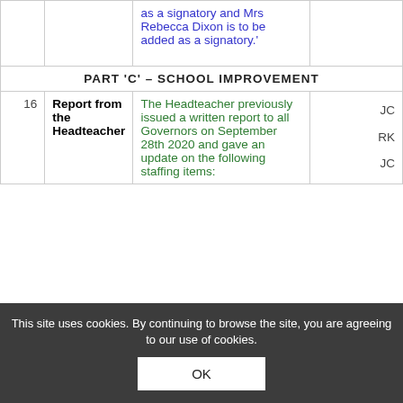|  |  |  |  |
| --- | --- | --- | --- |
|  |  | as a signatory and Mrs Rebecca Dixon is to be added as a signatory.' |  |
| PART 'C' – SCHOOL IMPROVEMENT |  |  |  |
| 16 | Report from the Headteacher | The Headteacher previously issued a written report to all Governors on September 28th 2020 and gave an update on the following staffing items: | JC
RK
JC |